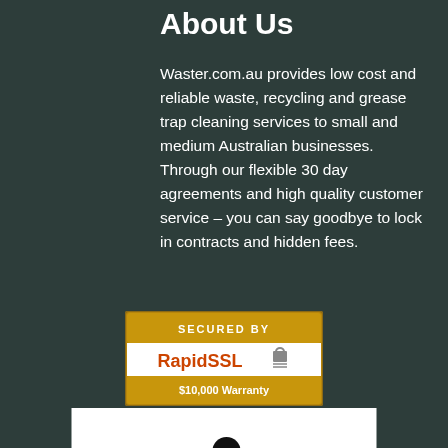About Us
Waster.com.au provides low cost and reliable waste, recycling and grease trap cleaning services to small and medium Australian businesses. Through our flexible 30 day agreements and high quality customer service – you can say goodbye to lock in contracts and hidden fees.
[Figure (logo): RapidSSL Secured badge with gold/brown background, white and orange text reading SECURED BY RapidSSL with lock icon and $10,000 Warranty text]
[Figure (logo): Zip payment logo on white background showing stylized letters z, i (with purple square), p in black]
[Figure (logo): Australian Owned and Operated badge showing map of Australia with Australian flag colors (blue, red, white) and text Australian Owned and Operated on white background]